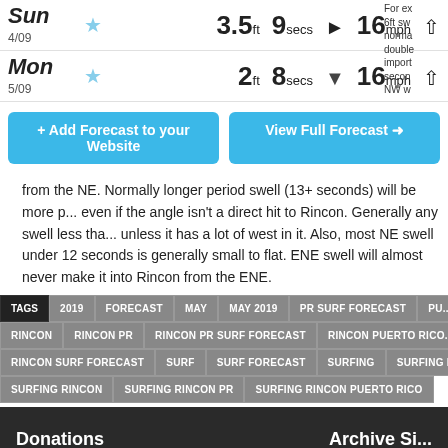| Day | Star | Wave Height | Period | Dir | Wind Speed | Wind Dir |
| --- | --- | --- | --- | --- | --- | --- |
| Sun 4/09 | ★ | 3.5ft | 9secs | ▶ | 16mph | ↗ |
| Mon 5/09 | ★ | 2ft | 8secs | ▼ | 16mph | ↗ |
+ Add Forecast to your Website
View Full Forecast ➡
from the NE. Normally longer period swell (13+ seconds) will be more powerful even if the angle isn't a direct hit to Rincon. Generally any swell less than unless it has a lot of west in it. Also, most NE swell under 12 seconds is generally small to flat. ENE swell will almost never make it into Rincon from the ENE.
TAGS  2019  FORECAST  MAY  MAY 2019  PR SURF FORECAST  PU...  RINCON  RINCON PR  RINCON PR SURF FORECAST  RINCON PUERTO RICO...  RINCON SURF FORECAST  SURF  SURF FORECAST  SURFING  SURFING F...  SURFING RINCON  SURFING RINCON PR  SURFING RINCON PUERTO RICO
Donations
Archive Si...